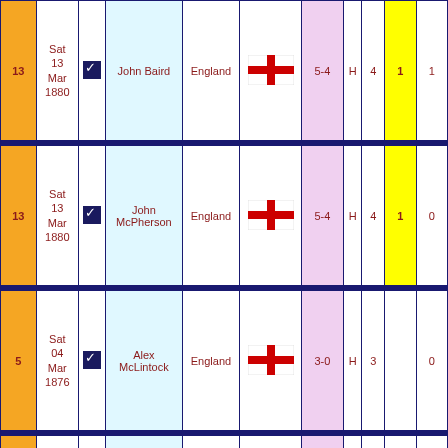| # | Date | ✓ | Name | Opponent | Flag | Score | H/A | Num | Yellow | Last |
| --- | --- | --- | --- | --- | --- | --- | --- | --- | --- | --- |
| 13 | Sat 13 Mar 1880 | ✓ | John Baird | England | [England flag] | 5-4 | H | 4 | 1 | 1 |
| 13 | Sat 13 Mar 1880 | ✓ | John McPherson | England | [England flag] | 5-4 | H | 4 | 1 | 0 |
| 5 | Sat 04 Mar 1876 | ✓ | Alex McLintock | England | [England flag] | 3-0 | H | 3 |  | 0 |